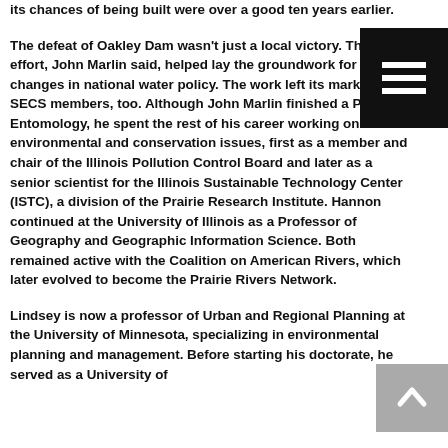its chances of being built were over a good ten years earlier.

The defeat of Oakley Dam wasn't just a local victory. The effort, John Marlin said, helped lay the groundwork for changes in national water policy. The work left its mark on SECS members, too. Although John Marlin finished a Ph.D. in Entomology, he spent the rest of his career working on environmental and conservation issues, first as a member and chair of the Illinois Pollution Control Board and later as a senior scientist for the Illinois Sustainable Technology Center (ISTC), a division of the Prairie Research Institute. Hannon continued at the University of Illinois as a Professor of Geography and Geographic Information Science. Both remained active with the Coalition on American Rivers, which later evolved to become the Prairie Rivers Network.

Lindsey is now a professor of Urban and Regional Planning at the University of Minnesota, specializing in environmental planning and management. Before starting his doctorate, he served as a University of
[Figure (other): Black hamburger menu button (three horizontal white bars on black background) in top-right corner]
[Figure (other): Gray scroll-to-top button with upward-pointing chevron/arrow in bottom-right corner]